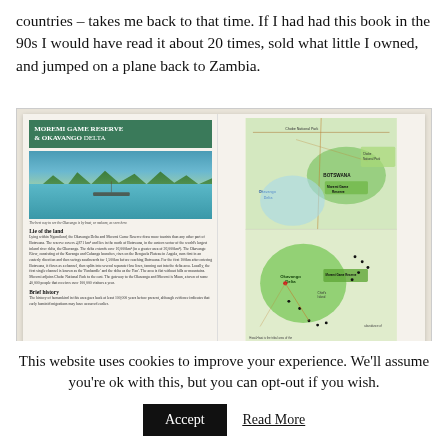countries – takes me back to that time. If I had had this book in the 90s I would have read it about 20 times, sold what little I owned, and jumped on a plane back to Zambia.
[Figure (photo): A scan of a travel guide book page showing 'Moremi Game Reserve & Okavango Delta' with a photo of the delta by boat and a map of Botswana showing the Okavango Delta and Moremi Game Reserve, with sections 'Lie of the land' and 'Brief history'.]
This website uses cookies to improve your experience. We'll assume you're ok with this, but you can opt-out if you wish.
Accept
Read More